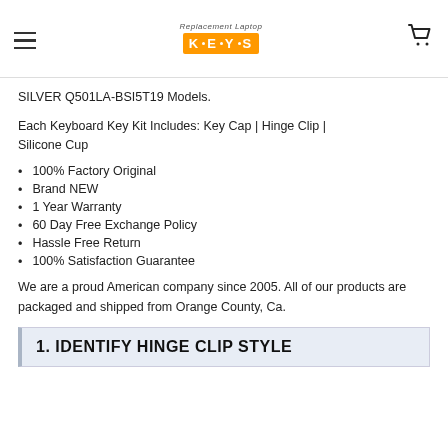Replacement Laptop KEYS (logo)
SILVER Q501LA-BSI5T19 Models.
Each Keyboard Key Kit Includes: Key Cap | Hinge Clip | Silicone Cup
100% Factory Original
Brand NEW
1 Year Warranty
60 Day Free Exchange Policy
Hassle Free Return
100% Satisfaction Guarantee
We are a proud American company since 2005. All of our products are packaged and shipped from Orange County, Ca.
1. IDENTIFY HINGE CLIP STYLE